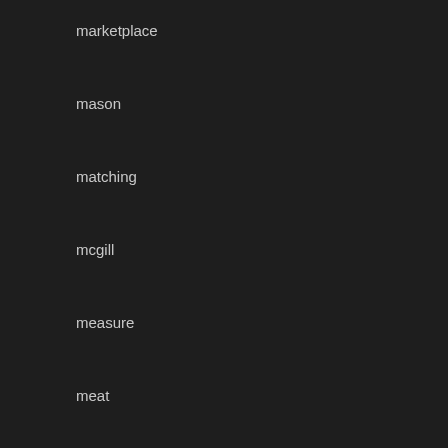marketplace
mason
matching
mcgill
measure
meat
mercedes
metal
mica
midgard
miller
miner's
mini
miniature
mint